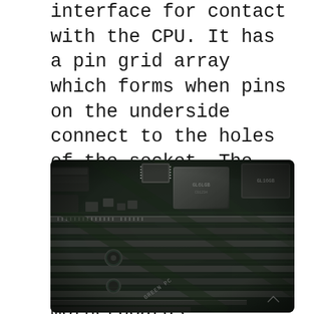interface for contact with the CPU. It has a pin grid array which forms when pins on the underside connect to the holes of the socket. The number and arrangement of these pins and holes are a major source of difference between motherboards. Processor sockets determine how much current your motherboard is likely to pull.
[Figure (photo): Close-up black and white photograph of a computer motherboard showing RAM slots, PCIe slots, chips, and circuitry. Text 'GREEN PC' is visible on one component.]